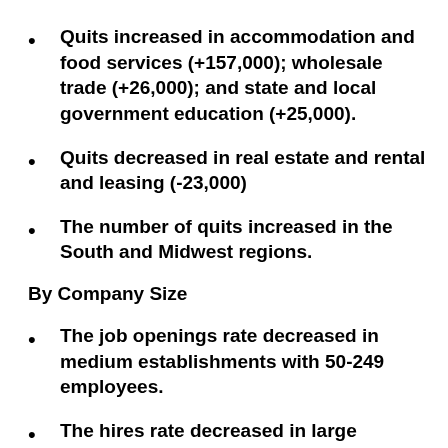Quits increased in accommodation and food services (+157,000); wholesale trade (+26,000); and state and local government education (+25,000).
Quits decreased in real estate and rental and leasing (-23,000)
The number of quits increased in the South and Midwest regions.
By Company Size
The job openings rate decreased in medium establishments with 50-249 employees.
The hires rate decreased in large